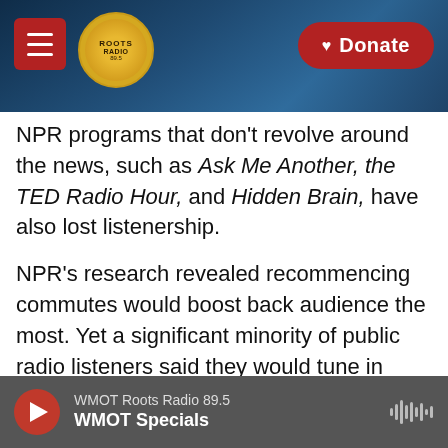[Figure (screenshot): Mobile app header bar with hamburger menu (red square button), Roots Radio circular logo, and red Donate button with heart icon, all on a dark blue guitar background]
NPR programs that don't revolve around the news, such as Ask Me Another, the TED Radio Hour, and Hidden Brain, have also lost listenership.
NPR's research revealed recommencing commutes would boost back audience the most. Yet a significant minority of public radio listeners said they would tune in more often if NPR shows offered a greater variety of news coverage, beyond the coronavirus, recent protests for social justice and the election.
Kaplan and Lansing presented the findings at a series of meetings with staff Wednesday.
WMOT Roots Radio 89.5
WMOT Specials